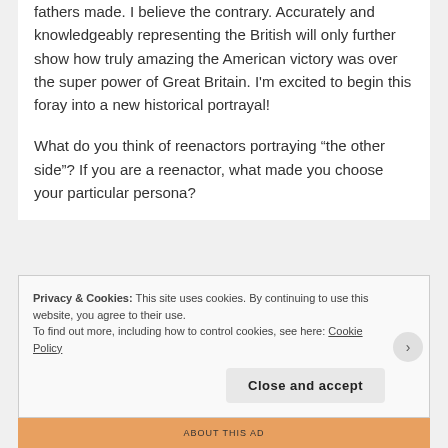fathers made. I believe the contrary. Accurately and knowledgeably representing the British will only further show how truly amazing the American victory was over the super power of Great Britain. I'm excited to begin this foray into a new historical portrayal!
What do you think of reenactors portraying “the other side”? If you are a reenactor, what made you choose your particular persona?
Privacy & Cookies: This site uses cookies. By continuing to use this website, you agree to their use.
To find out more, including how to control cookies, see here: Cookie Policy